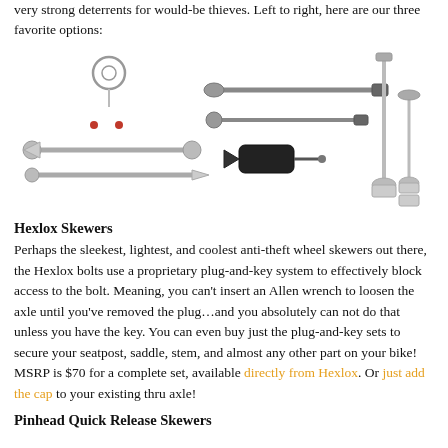very strong deterrents for would-be thieves. Left to right, here are our three favorite options:
[Figure (photo): Three anti-theft bicycle skewer products shown left to right: Hexlox skewers with ring key and two axle components, Pinhead quick release skewers with multiple parts, and a pair of bolt-style skewers with nuts]
Hexlox Skewers
Perhaps the sleekest, lightest, and coolest anti-theft wheel skewers out there, the Hexlox bolts use a proprietary plug-and-key system to effectively block access to the bolt. Meaning, you can't insert an Allen wrench to loosen the axle until you've removed the plug…and you absolutely can not do that unless you have the key. You can even buy just the plug-and-key sets to secure your seatpost, saddle, stem, and almost any other part on your bike! MSRP is $70 for a complete set, available directly from Hexlox. Or just add the cap to your existing thru axle!
Pinhead Quick Release Skewers